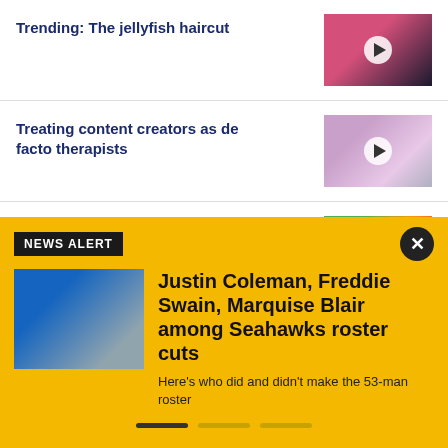Trending: The jellyfish haircut
[Figure (photo): Thumbnail video image related to jellyfish haircut trend]
Treating content creators as de facto therapists
[Figure (photo): Thumbnail video image of a person, content creator segment]
Mt. Rainier ice caves shine with rainbow colors
[Figure (photo): Thumbnail video image of colorful ice caves at Mt. Rainier]
NEWS ALERT
[Figure (photo): Football player in Seahawks uniform on field]
Justin Coleman, Freddie Swain, Marquise Blair among Seahawks roster cuts
Here's who did and didn't make the 53-man roster